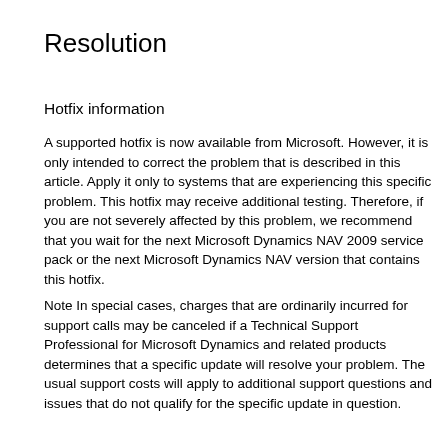Resolution
Hotfix information
A supported hotfix is now available from Microsoft. However, it is only intended to correct the problem that is described in this article. Apply it only to systems that are experiencing this specific problem. This hotfix may receive additional testing. Therefore, if you are not severely affected by this problem, we recommend that you wait for the next Microsoft Dynamics NAV 2009 service pack or the next Microsoft Dynamics NAV version that contains this hotfix.
Note In special cases, charges that are ordinarily incurred for support calls may be canceled if a Technical Support Professional for Microsoft Dynamics and related products determines that a specific update will resolve your problem. The usual support costs will apply to additional support questions and issues that do not qualify for the specific update in question.